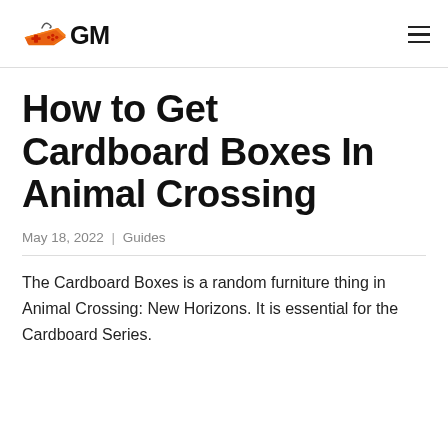GM (gaming logo)
How to Get Cardboard Boxes In Animal Crossing
May 18, 2022 | Guides
The Cardboard Boxes is a random furniture thing in Animal Crossing: New Horizons. It is essential for the Cardboard Series.